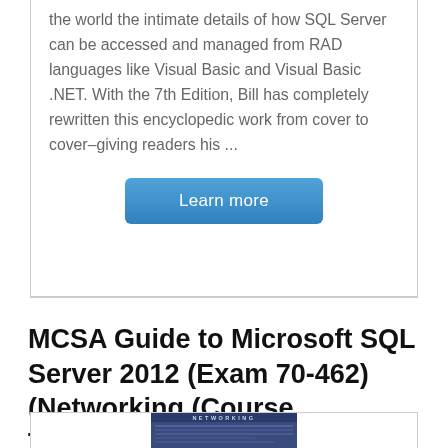... the world the intimate details of how SQL Server can be accessed and managed from RAD languages like Visual Basic and Visual Basic .NET. With the 7th Edition, Bill has completely rewritten this encyclopedic work from cover to cover–giving readers his ...
Learn more
MCSA Guide to Microsoft SQL Server 2012 (Exam 70-462) (Networking (Course Technology))
[Figure (photo): Book cover thumbnail showing a networking book with blue/dark cover and 'NETWORKING' text at the top]